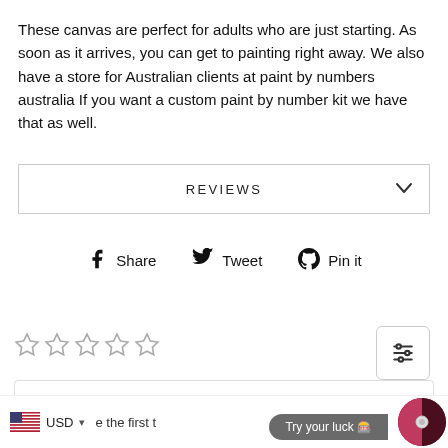These canvas are perfect for adults who are just starting. As soon as it arrives, you can get to painting right away. We also have a store for Australian clients at paint by numbers australia If you want a custom paint by number kit we have that as well.
REVIEWS
Share   Tweet   Pin it
[Figure (other): Five empty star rating icons]
[Figure (other): Filter/settings sliders icon]
Write a review
[Figure (other): US flag currency selector (USD) and 'Try your luck' pill button with spinner disc overlay]